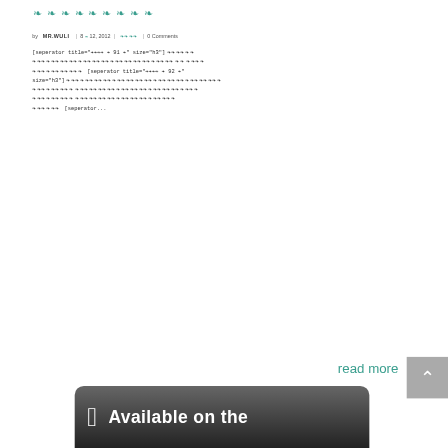❧❧❧❧❧❧❧❧❧
by MR.WULI | 8 ❧ 12, 2012 | ❧❧❧❧ | 0 Comments
[seperator title="❧❧❧❧ ❧ 91 ❧" size="h3"] ❧❧❧❧❧❧ ❧❧❧❧❧❧❧❧❧❧❧❧❧❧❧❧❧❧❧❧❧❧❧❧❧❧❧❧❧❧❧ ❧❧ ❧❧❧❧ ❧❧❧❧❧❧❧❧❧❧❧ [seperator title="❧❧❧❧ ❧ 92 ❧" size="h3"] ❧❧❧❧❧❧❧❧❧❧❧❧❧❧❧❧❧❧❧❧❧❧❧❧❧❧❧❧❧❧❧❧❧❧ ❧❧❧❧❧❧❧❧❧ ❧❧❧❧❧❧❧❧❧❧❧❧❧❧❧❧❧❧❧❧❧❧❧❧❧❧❧ ❧❧❧❧❧❧❧❧❧ ❧❧❧❧❧❧❧❧❧❧❧❧❧❧❧❧❧❧❧❧❧❧ ❧❧❧❧❧❧ [seperator...
read more
[Figure (other): App Store banner with Apple logo and text 'Available on the']